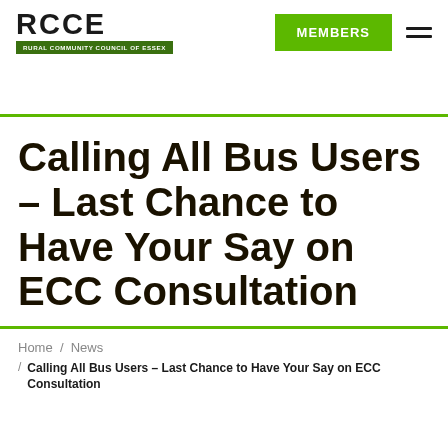[Figure (logo): RCCE Rural Community Council of Essex logo — bold black 'RCCE' text above a dark green bar reading 'RURAL COMMUNITY COUNCIL OF ESSEX']
Calling All Bus Users – Last Chance to Have Your Say on ECC Consultation
Home / News / Calling All Bus Users – Last Chance to Have Your Say on ECC Consultation